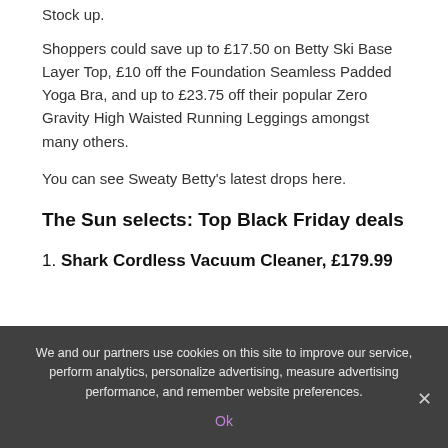Stock up.
Shoppers could save up to £17.50 on Betty Ski Base Layer Top, £10 off the Foundation Seamless Padded Yoga Bra, and up to £23.75 off their popular Zero Gravity High Waisted Running Leggings amongst many others.
You can see Sweaty Betty's latest drops here.
The Sun selects: Top Black Friday deals
1. Shark Cordless Vacuum Cleaner, £179.99
We and our partners use cookies on this site to improve our service, perform analytics, personalize advertising, measure advertising performance, and remember website preferences.
Ok